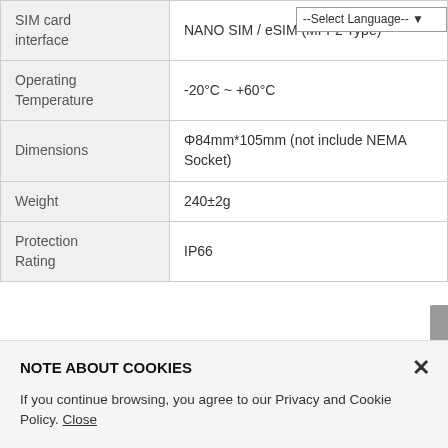| Property | Value |
| --- | --- |
| SIM card interface | NANO SIM / eSIM (MFF2 Type) |
| Operating Temperature | -20°C ~ +60°C |
| Dimensions | Φ84mm*105mm (not include NEMA Socket) |
| Weight | 240±2g |
| Protection Rating | IP66 |
NOTE ABOUT COOKIES
If you continue browsing, you agree to our Privacy and Cookie Policy. Close